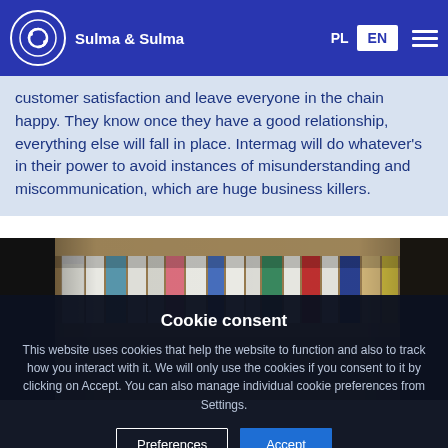Sulma & Sulma — PL / EN
customer satisfaction and leave everyone in the chain happy. They know once they have a good relationship, everything else will fall in place. Intermag will do whatever's in their power to avoid instances of misunderstanding and miscommunication, which are huge business killers.
[Figure (photo): Office bookshelf with colourful binders/folders in various colours]
Cookie consent
This website uses cookies that help the website to function and also to track how you interact with it. We will only use the cookies if you consent to it by clicking on Accept. You can also manage individual cookie preferences from Settings.
Preferences   Accept